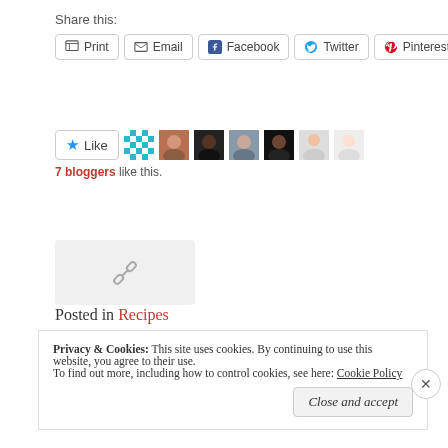Share this:
Print  Email  Facebook  Twitter  Pinterest
[Figure (other): Like button with blue star, pixel avatar, and 6 blogger profile photos]
7 bloggers like this.
[Figure (other): Link placeholder icon (chain link shape) on light gray background]
Posted in Recipes
Tagged cauliflower rice, inari, low carb
Privacy & Cookies: This site uses cookies. By continuing to use this website, you agree to their use. To find out more, including how to control cookies, see here: Cookie Policy
Close and accept